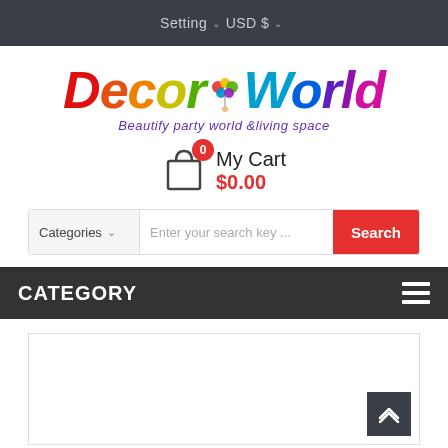Setting   USD $
[Figure (logo): Decor World logo with rainbow-colored italic text and balloons illustration. Tagline: Beautify party world & living space]
My Cart  $0.00
Categories   Enter your search key ...   Search
CATEGORY
[Figure (other): Empty white content area with a dark back-to-top arrow button in the bottom right corner]